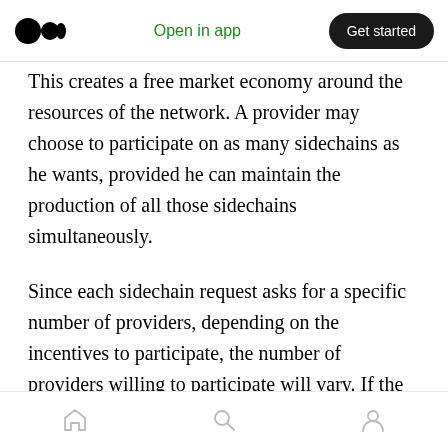Open in app | Get started
This creates a free market economy around the resources of the network. A provider may choose to participate on as many sidechains as he wants, provided he can maintain the production of all those sidechains simultaneously.
Since each sidechain request asks for a specific number of providers, depending on the incentives to participate, the number of providers willing to participate will vary. If the number of providers willing to participate is larger than the number of providers requested, a random selection occurs that benefits providers with a larger
Home | Search | Profile